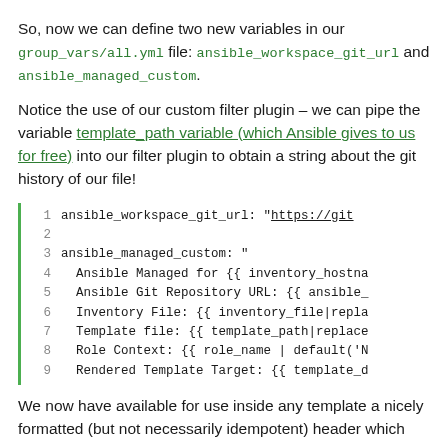So, now we can define two new variables in our group_vars/all.yml file: ansible_workspace_git_url and ansible_managed_custom.
Notice the use of our custom filter plugin – we can pipe the variable template_path variable (which Ansible gives to us for free) into our filter plugin to obtain a string about the git history of our file!
[Figure (screenshot): Code block showing YAML configuration with line numbers 1-9, lines defining ansible_workspace_git_url and ansible_managed_custom variables with Ansible template expressions]
We now have available for use inside any template a nicely formatted (but not necessarily idempotent) header which